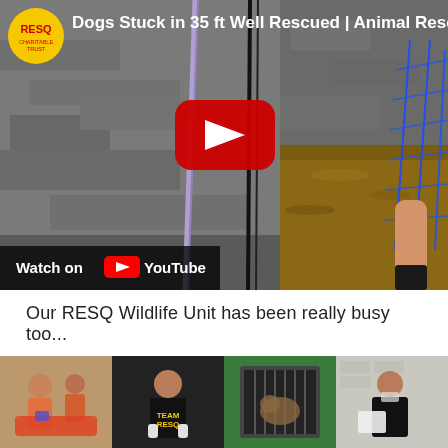[Figure (screenshot): YouTube video thumbnail showing dogs stuck in a 35 ft well rescue. Shows rocky cliff face with ropes, muddy water, and a blue net being used in the rescue. RESQ Charitable Trust logo in top-left corner with video title 'Dogs Stuck in 35 ft Well Rescued | Animal Rescu...' A red YouTube play button is centered. 'Watch on YouTube' bar at bottom-left.]
Our RESQ Wildlife Unit has been really busy too...
[Figure (photo): A strip of four photos showing RESQ wildlife unit members tending to animals. Left: people treating an animal on the ground. Second: person in TEAM RESQ shirt. Third: an animal in a transport cage. Fourth: person holding a white cloth outdoors.]